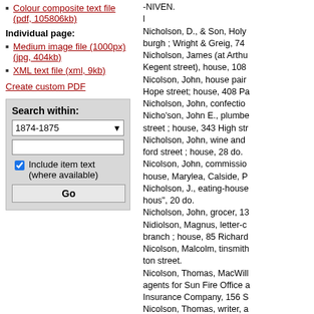Colour composite text file (pdf, 105806kb)
Individual page:
Medium image file (1000px) (jpg, 404kb)
XML text file (xml, 9kb)
Create custom PDF
Search within:
1874-1875
Include item text (where available)
Go
-NIVEN.
l
Nicholson, D., & Son, Holy burgh ; Wright & Greig, 74 Nicholson, James (at Arthu Kegent street), house, 108 Nicolson, John, house pai Hope street; house, 408 Pa Nicholson, John, confectio Nicho'son, John E., plumb street ; house, 343 High st Nicholson, John, wine and ford street ; house, 28 do. Nicolson, John, commissio house, Marylea, Calside, P Nicholson, J., eating-house hous", 20 do. Nicholson, John, grocer, 1 Nidiolson, Magnus, letter-c branch ; house, 85 Richar Nicolson, Malcolm, tinsmi ton street. Nicolson, Thomas, MacWil agents for Sun Fire Office Insurance Company, 156 S Nicolson, Thomas, writer, English Courts of Chance MacWilliam, & Co.), ho. 4 Nicholson, WiUiam, house Dumbarton road, Partick ;